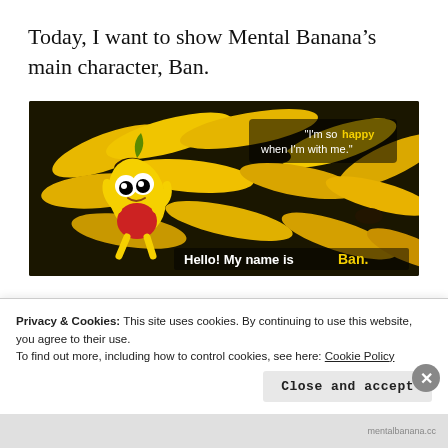Today, I want to show Mental Banana's main character, Ban.
[Figure (photo): A cartoon banana character named Ban standing in front of a pile of real bananas. The character has big googly eyes, a red shirt, and is waving. Text on image reads: 'I'm so happy when I'm with me.' and 'Hello! My name is Ban.' with 'Ban.' highlighted in yellow bold text.]
Ban is the name of him, and he is so cute. He loves to play outside and to
Privacy & Cookies: This site uses cookies. By continuing to use this website, you agree to their use.
To find out more, including how to control cookies, see here: Cookie Policy